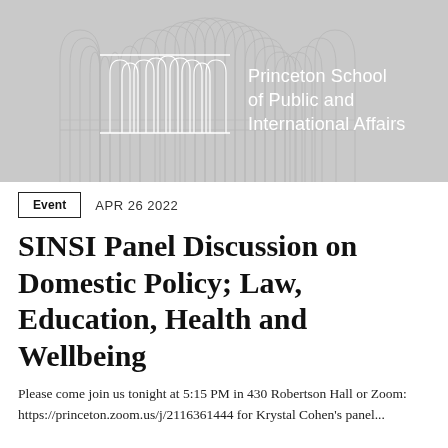[Figure (logo): Princeton School of Public and International Affairs logo with decorative arch columns on a light gray background]
Event   APR 26 2022
SINSI Panel Discussion on Domestic Policy; Law, Education, Health and Wellbeing
Please come join us tonight at 5:15 PM in 430 Robertson Hall or Zoom: https://princeton.zoom.us/j/2116361444 for Krystal Cohen's panel...